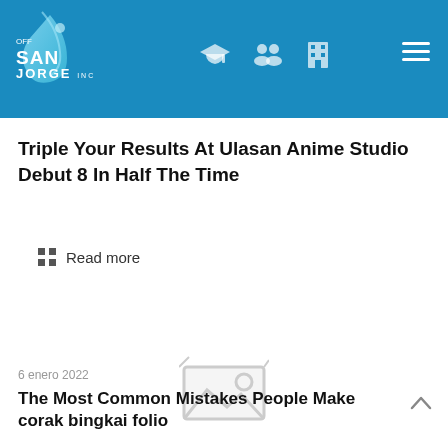OFF SAN JORGE INC
Triple Your Results At Ulasan Anime Studio Debut 8 In Half The Time
Read more
[Figure (illustration): Broken image placeholder icon]
6 enero 2022
The Most Common Mistakes People Make corak bingkai folio